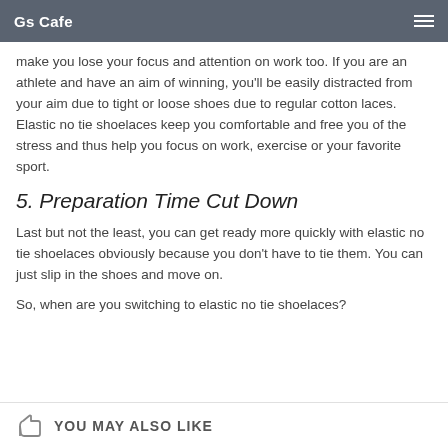Gs Cafe
make you lose your focus and attention on work too. If you are an athlete and have an aim of winning, you'll be easily distracted from your aim due to tight or loose shoes due to regular cotton laces. Elastic no tie shoelaces keep you comfortable and free you of the stress and thus help you focus on work, exercise or your favorite sport.
5. Preparation Time Cut Down
Last but not the least, you can get ready more quickly with elastic no tie shoelaces obviously because you don't have to tie them. You can just slip in the shoes and move on.
So, when are you switching to elastic no tie shoelaces?
YOU MAY ALSO LIKE